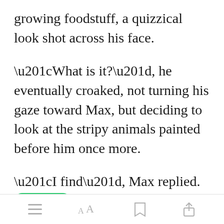growing foodstuff, a quizzical look shot across his face.
“What is it?”, he eventually croaked, not turning his gaze toward Max, but deciding to look at the stripy animals painted before him once more.
“I find”, Max replied. “That the best way to find out about something is
[Figure (other): Green 'Open in app' button overlay]
Toolbar with menu, font, bookmark, and share icons